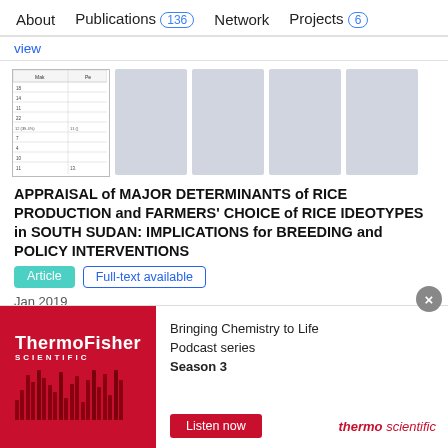About   Publications 136   Network   Projects 6
view
[Figure (table-as-image): Thumbnail of a table from the publication]
APPRAISAL of MAJOR DETERMINANTS of RICE PRODUCTION and FARMERS' CHOICE of RICE IDEOTYPES in SOUTH SUDAN: IMPLICATIONS for BREEDING and POLICY INTERVENTIONS
Article   Full-text available
Jan 2019
M.L. Mogga · Julia Sibiya · Hussein Shimelis · [...] ·
[Figure (screenshot): ThermoFisher Scientific advertisement: Bringing Chemistry to Life Podcast series Season 3 with Listen now button]